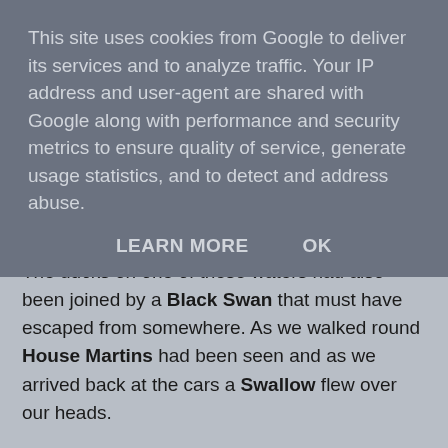This site uses cookies from Google to deliver its services and to analyze traffic. Your IP address and user-agent are shared with Google along with performance and security metrics to ensure quality of service, generate usage statistics, and to detect and address abuse.
LEARN MORE    OK
flying with them which was a single Starling. The ducks on one of these waters had also been joined by a Black Swan that must have escaped from somewhere. As we walked round House Martins had been seen and as we arrived back at the cars a Swallow flew over our heads.
The only other butterfly we saw was Large White but we did get a good look at a caterpillar of the Buff Tip Moth. Most of the flowers were now gone but there were still patches of Bird's Foot Trefoil in flower Marsh Woundwort and the last remaining flowers on the Purple Loosestrife could be seen. Another bush that was looking good was the Guelder Rose that had clusters of its shiny berries starting to turn red which eventually will provide food for the birds.